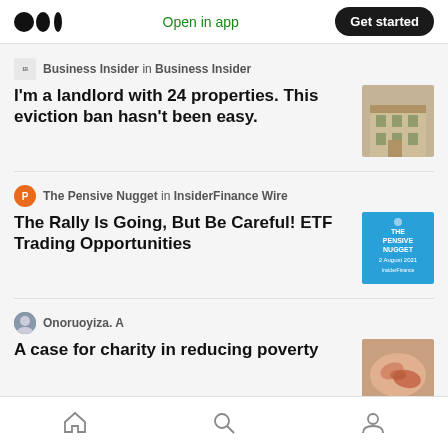Medium app header with logo, Open in app, Get started button
Business Insider in Business Insider
I'm a landlord with 24 properties. This eviction ban hasn't been easy.
[Figure (photo): Photo of a brick apartment building exterior]
The Pensive Nugget in InsiderFinance Wire
The Rally Is Going, But Be Careful! ETF Trading Opportunities
[Figure (photo): Blue promotional image for The Pensive Nugget newsletter]
Onoruoyiza. A
A case for charity in reducing poverty
[Figure (photo): Photo of hands exchanging something, charity theme]
Acuity Knowledge Partners
[Figure (photo): Partial thumbnail for Acuity Knowledge Partners article]
Bottom navigation bar with Home, Search, and Profile icons